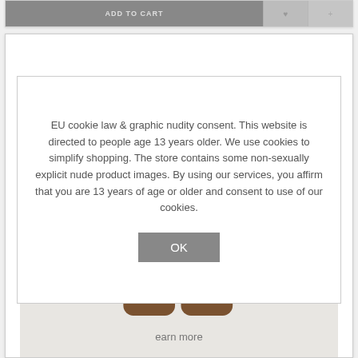[Figure (screenshot): Top navigation bar strip with dark gray left section and lighter gray right sections, partially cropped at top of page]
[Figure (screenshot): White card panel containing a cookie consent modal dialog overlay on top of a product image showing a 3D figure's legs in boots on a light gray background]
EU cookie law & graphic nudity consent. This website is directed to people age 13 years older. We use cookies to simplify shopping. The store contains some non-sexually explicit nude product images. By using our services, you affirm that you are 13 years of age or older and consent to use of our cookies.
OK
earn more